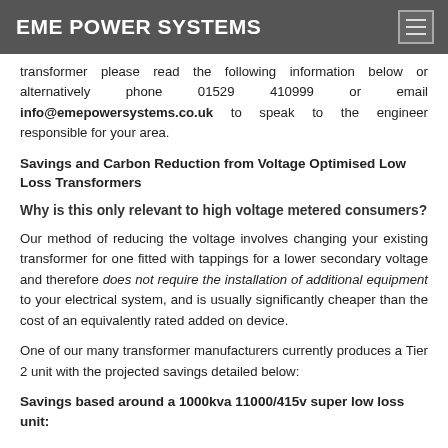EME POWER SYSTEMS
transformer please read the following information below or alternatively phone 01529 410999 or email info@emepowersystems.co.uk to speak to the engineer responsible for your area.
Savings and Carbon Reduction from Voltage Optimised Low Loss Transformers
Why is this only relevant to high voltage metered consumers?
Our method of reducing the voltage involves changing your existing transformer for one fitted with tappings for a lower secondary voltage and therefore does not require the installation of additional equipment to your electrical system, and is usually significantly cheaper than the cost of an equivalently rated added on device.
One of our many transformer manufacturers currently produces a Tier 2 unit with the projected savings detailed below:
Savings based around a 1000kva 11000/415v super low loss unit: